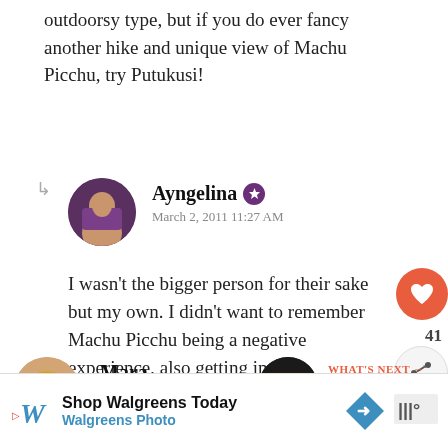get to Waynapicchu. Know you're not much of an outdoorsy type, but if you do ever fancy another hike and unique view of Machu Picchu, try Putukusi!
[Figure (photo): Circular avatar photo of Ayngelina, a woman with dark hair and purple scarf]
Ayngelina
March 2, 2011 11:27 AM
I wasn't the bigger person for their sake but my own. I didn't want to remember Machu Picchu being a negative experience, also getting into WaynaPicchu certainly helped make it positive overall.
[Figure (photo): Circular avatar photo of Mara, a woman with blonde hair]
Mara
March 2, 2011 9:54 AM
[Figure (photo): Small circular thumbnail image for What's Next section]
WHAT'S NEXT → What to Eat in Japan: 17...
[Figure (other): Walgreens advertisement banner: Shop Walgreens Today, Walgreens Photo]